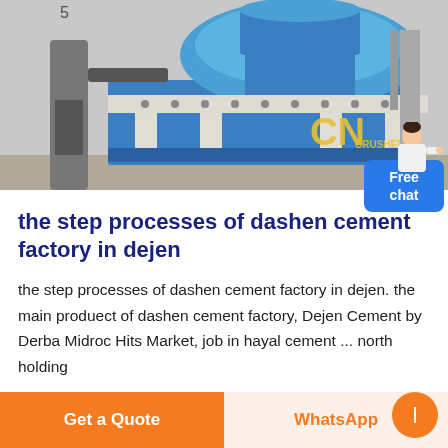[Figure (photo): Industrial blue cement crushing/grinding machine on factory floor, with yellow CN logo visible on machine body]
the step processes of dashen cement factory in dejen
the step processes of dashen cement factory in dejen. the main produect of dashen cement factory, Dejen Cement by Derba Midroc Hits Market, job in hayal cement ... north holding